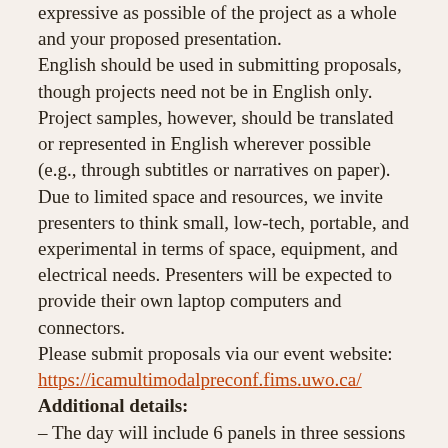expressive as possible of the project as a whole and your proposed presentation.
English should be used in submitting proposals, though projects need not be in English only. Project samples, however, should be translated or represented in English wherever possible (e.g., through subtitles or narratives on paper). Due to limited space and resources, we invite presenters to think small, low-tech, portable, and experimental in terms of space, equipment, and electrical needs. Presenters will be expected to provide their own laptop computers and connectors.
Please submit proposals via our event website: https://icamultimodalpreconf.fims.uwo.ca/
Additional details:
– The day will include 6 panels in three sessions (2 panels per session) and an invited closing plenary.- We hope there will be at least a small amount of exhibition space on site for presenters, who may want to combine exhibition or